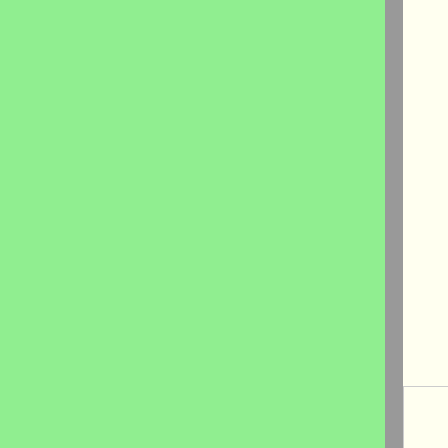[Figure (illustration): Green tree with brown roots illustration on cream/ivory background]
control our use of products. We do that add to the cost, time and resources
DISK or DISKS COME NO FRILLS. THEY RETAIL LABELING AND ULTIMATE QUALITY REQUIREMENTS AS STATED ABOVE. MATERIALS ARE IN PDF (PORTABLE DOCUMENT) DOWNLOADS ARE NECESSARY. THE MATERIALS. MOST COMPUTERS ALREADY
[Figure (illustration): USA logo with American flag, red U, blue A letters and eagle]
BUY AMERICAN
BUY WISELY
We urge you to compare anywhere no frills in paper sleeve with o
As we are the sole creators manufacturers and distributors of the art duplication techniques and conforms and is in compliance reproduce copy or resell under any circumstances. THE UL